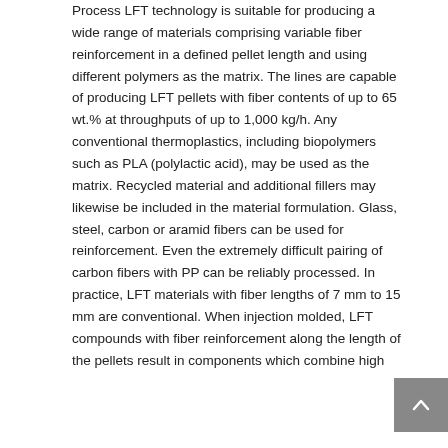Process LFT technology is suitable for producing a wide range of materials comprising variable fiber reinforcement in a defined pellet length and using different polymers as the matrix. The lines are capable of producing LFT pellets with fiber contents of up to 65 wt.% at throughputs of up to 1,000 kg/h. Any conventional thermoplastics, including biopolymers such as PLA (polylactic acid), may be used as the matrix. Recycled material and additional fillers may likewise be included in the material formulation. Glass, steel, carbon or aramid fibers can be used for reinforcement. Even the extremely difficult pairing of carbon fibers with PP can be reliably processed. In practice, LFT materials with fiber lengths of 7 mm to 15 mm are conventional. When injection molded, LFT compounds with fiber reinforcement along the length of the pellets result in components which combine high
[Figure (other): A grey scroll-to-top button with an upward-pointing chevron arrow, positioned at the bottom right of the page.]